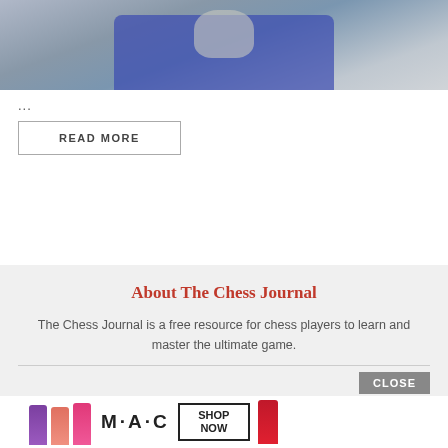[Figure (photo): Photo of a chess player in a blue jersey with a pink lanyard, cropped to upper body and face]
...
READ MORE
About The Chess Journal
The Chess Journal is a free resource for chess players to learn and master the ultimate game.
CLOSE
[Figure (other): MAC cosmetics advertisement banner showing lipsticks in purple, pink, hot pink, and red with MAC logo and SHOP NOW button]